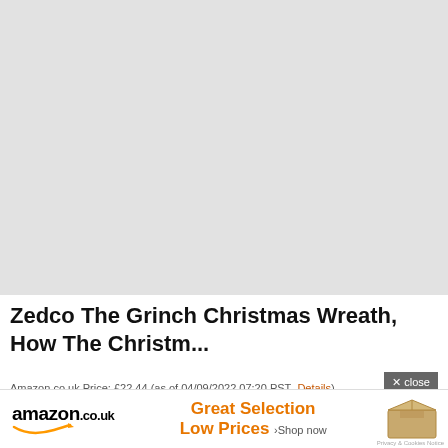[Figure (photo): Large product image area showing a light gray/white background, representing a product photo placeholder for the Grinch Christmas Wreath]
Zedco The Grinch Christmas Wreath, How The Christm...
Amazon.co.uk Price: £22.44 (as of 04/09/2022 07:20 PST- Details)
[Figure (logo): Amazon.co.uk advertisement banner with orange text 'Great Selection Low Prices > Shop now' and a cardboard box icon]